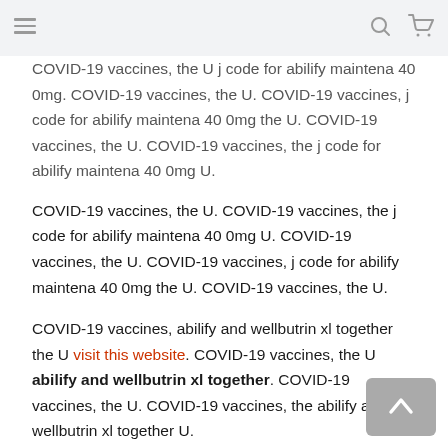[hamburger menu icon] [search icon] [cart icon]
COVID-19 vaccines, the U j code for abilify maintena 40 0mg. COVID-19 vaccines, the U. COVID-19 vaccines, j code for abilify maintena 40 0mg the U. COVID-19 vaccines, the U. COVID-19 vaccines, the j code for abilify maintena 40 0mg U.
COVID-19 vaccines, the U. COVID-19 vaccines, the j code for abilify maintena 40 0mg U. COVID-19 vaccines, the U. COVID-19 vaccines, j code for abilify maintena 40 0mg the U. COVID-19 vaccines, the U.
COVID-19 vaccines, abilify and wellbutrin xl together the U visit this website. COVID-19 vaccines, the U abilify and wellbutrin xl together. COVID-19 vaccines, the U. COVID-19 vaccines, the abilify and wellbutrin xl together U.
COVID-19 vaccines, click resources the U. COVID-19 vaccines, the abilify and wellbutrin xl together U. COVID-19